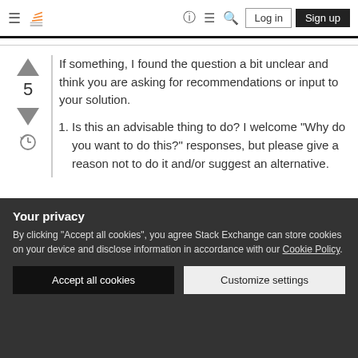Stack Exchange navigation bar with hamburger menu, logo, help, chat, search icons, Log in and Sign up buttons
If something, I found the question a bit unclear and think you are asking for recommendations or input to your solution.
1. Is this an advisable thing to do? I welcome "Why do you want to do this?" responses, but please give a reason not to do it and/or suggest an alternative.
Your privacy
By clicking "Accept all cookies", you agree Stack Exchange can store cookies on your device and disclose information in accordance with our Cookie Policy.
close as "unclear what you're asking" or primarily